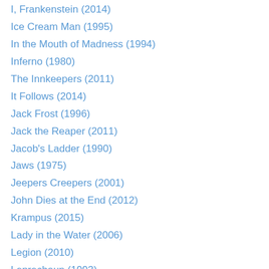I, Frankenstein (2014)
Ice Cream Man (1995)
In the Mouth of Madness (1994)
Inferno (1980)
The Innkeepers (2011)
It Follows (2014)
Jack Frost (1996)
Jack the Reaper (2011)
Jacob's Ladder (1990)
Jaws (1975)
Jeepers Creepers (2001)
John Dies at the End (2012)
Krampus (2015)
Lady in the Water (2006)
Legion (2010)
Leprechaun (1993)
Leprechaun 2 (1994)
Leprechaun 3 (1994)
Leprechaun 4: In Space (1997)
Leprechaun: Back 2 tha Hood (2003)